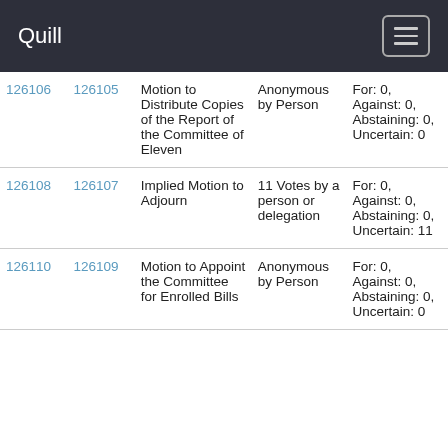Quill
| ID1 | ID2 | Motion | Vote Type | Result |
| --- | --- | --- | --- | --- |
| 126106 | 126105 | Motion to Distribute Copies of the Report of the Committee of Eleven | Anonymous by Person | For: 0, Against: 0, Abstaining: 0, Uncertain: 0 |
| 126108 | 126107 | Implied Motion to Adjourn | 11 Votes by a person or delegation | For: 0, Against: 0, Abstaining: 0, Uncertain: 11 |
| 126110 | 126109 | Motion to Appoint the Committee for Enrolled Bills | Anonymous by Person | For: 0, Against: 0, Abstaining: 0, Uncertain: 0 |